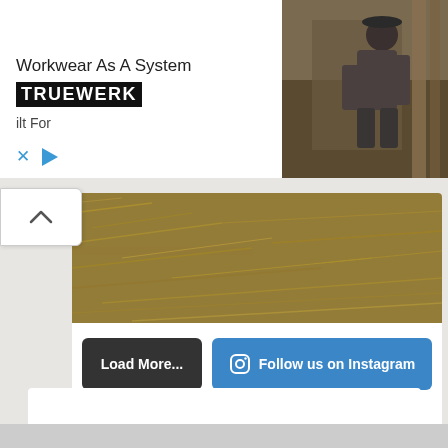[Figure (screenshot): Advertisement banner for TRUEWERK workwear brand. Shows logo, headline 'Workwear As A System', subtext 'ilt For', with photo of man working on construction, and ad controls (X and play button).]
[Figure (photo): Hay/dry grass ground cover photo, golden-brown dried grass texture.]
Load More...
Follow us on Instagram
[Figure (screenshot): White empty content block below buttons, likely an ad or loading area.]